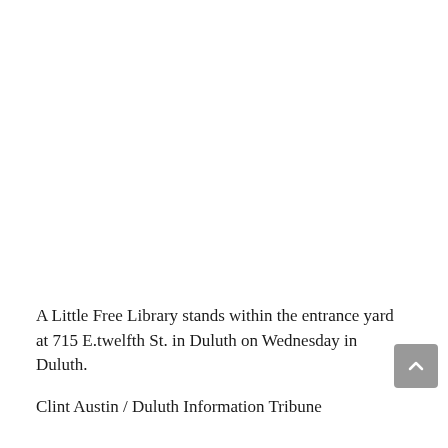[Figure (photo): A white/blank area occupying the upper portion of the page, where a photo of a Little Free Library would appear.]
A Little Free Library stands within the entrance yard at 715 E.twelfth St. in Duluth on Wednesday in Duluth.
Clint Austin / Duluth Information Tribune